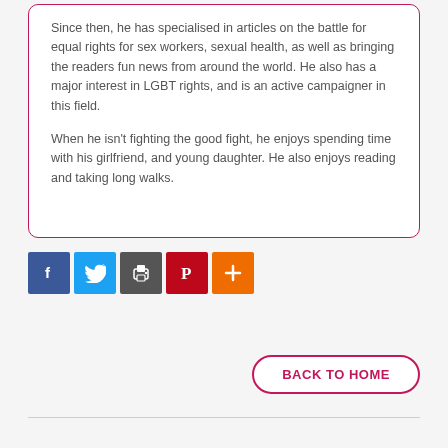Since then, he has specialised in articles on the battle for equal rights for sex workers, sexual health, as well as bringing the readers fun news from around the world. He also has a major interest in LGBT rights, and is an active campaigner in this field.
When he isn't fighting the good fight, he enjoys spending time with his girlfriend, and young daughter. He also enjoys reading and taking long walks.
[Figure (infographic): Social sharing buttons: Facebook (blue), Twitter (light blue), share icon (dark gray), Pinterest (red), More/plus (orange)]
BACK TO HOME